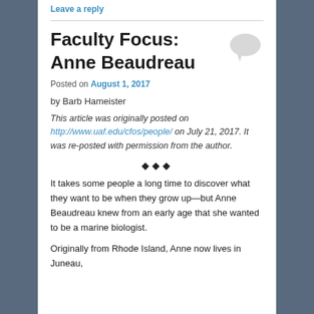Leave a reply
Faculty Focus: Anne Beaudreau
Posted on August 1, 2017
by Barb Hameister
This article was originally posted on http://www.uaf.edu/cfos/people/ on July 21, 2017. It was re-posted with permission from the author.
❖❖❖
It takes some people a long time to discover what they want to be when they grow up—but Anne Beaudreau knew from an early age that she wanted to be a marine biologist.
Originally from Rhode Island, Anne now lives in Juneau,